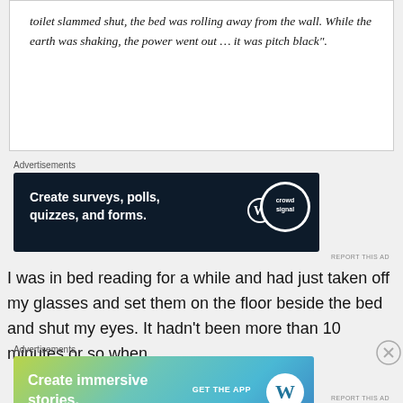toilet slammed shut, the bed was rolling away from the wall. While the earth was shaking, the power went out … it was pitch black".
Advertisements
[Figure (other): Advertisement banner: dark navy background with white bold text reading 'Create surveys, polls, quizzes, and forms.' with WordPress logo and Crowdsignal logo on right side.]
REPORT THIS AD
I was in bed reading for a while and had just taken off my glasses and set them on the floor beside the bed and shut my eyes. It hadn't been more than 10 minutes or so when
Advertisements
[Figure (other): Advertisement banner: colorful gradient background (green to blue) with white bold text reading 'Create immersive stories.' with GET THE APP call to action and WordPress logo.]
REPORT THIS AD